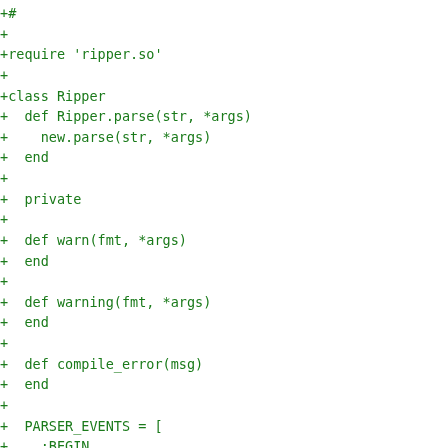[Figure (other): Code diff snippet in green monospace showing Ruby code with additions (+ lines) for a Ripper class definition including methods warn, warning, compile_error, and PARSER_EVENTS array with symbols :BEGIN, :END, :alias, :alias_error, :aref, :aref_field, :arg_ambiguous, :arg_paren, :arglist_add, :arglist_add_block]